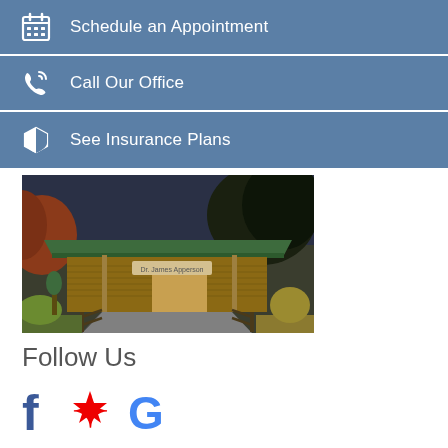Schedule an Appointment
Call Our Office
See Insurance Plans
[Figure (photo): Exterior photo of a rustic log cabin office building with a green roof, wooden fence ramp, and surrounding trees and shrubs in autumn colors.]
Follow Us